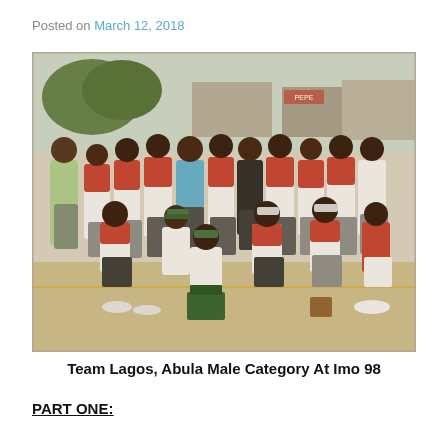Posted on March 12, 2018
[Figure (photo): A vintage group photo of Team Lagos, Abula Male Category At Imo 98. The team is posing outdoors, wearing red and white sports uniforms. Some players are standing in the back row and others are crouching or sitting in the front. There are trees and buildings in the background.]
Team Lagos, Abula Male Category At Imo 98
PART ONE: